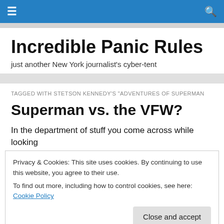☰  🔍
Incredible Panic Rules
just another New York journalist's cyber-tent
TAGGED WITH STETSON KENNEDY'S "ADVENTURES OF SUPERMAN
Superman vs. the VFW?
In the department of stuff you come across while looking
Privacy & Cookies: This site uses cookies. By continuing to use this website, you agree to their use.
To find out more, including how to control cookies, see here: Cookie Policy
[Close and accept]
traffic on the content. Not everyone admit to respect for the